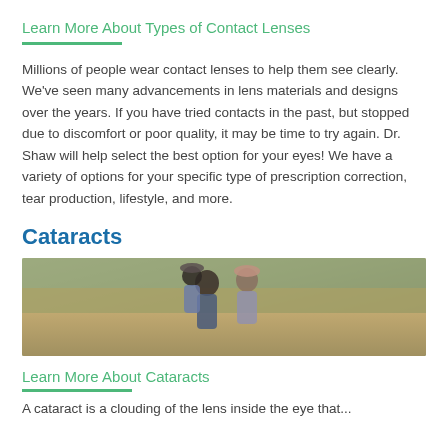Learn More About Types of Contact Lenses
Millions of people wear contact lenses to help them see clearly. We’ve seen many advancements in lens materials and designs over the years. If you have tried contacts in the past, but stopped due to discomfort or poor quality, it may be time to try again. Dr. Shaw will help select the best option for your eyes! We have a variety of options for your specific type of prescription correction, tear production, lifestyle, and more.
Cataracts
[Figure (photo): Family of three people outdoors near a lake in autumn, smiling and playing together]
Learn More About Cataracts
A cataract is a clouding of the lens inside the eye that...